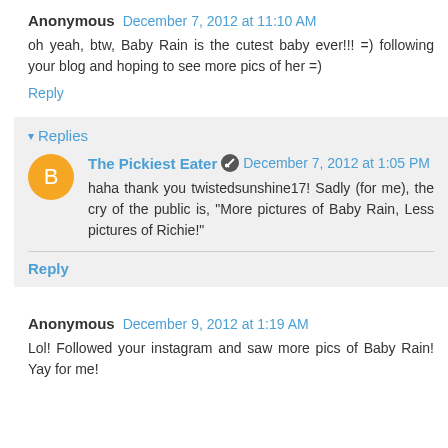Anonymous  December 7, 2012 at 11:10 AM
oh yeah, btw, Baby Rain is the cutest baby ever!!! =) following your blog and hoping to see more pics of her =)
Reply
Replies
The Pickiest Eater  December 7, 2012 at 1:05 PM
haha thank you twistedsunshine17! Sadly (for me), the cry of the public is, "More pictures of Baby Rain, Less pictures of Richie!"
Reply
Anonymous  December 9, 2012 at 1:19 AM
Lol! Followed your instagram and saw more pics of Baby Rain! Yay for me!